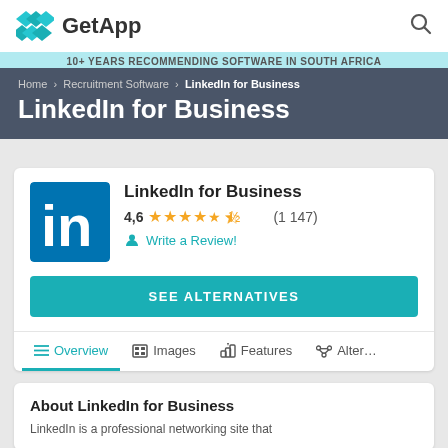GetApp — 10+ YEARS RECOMMENDING SOFTWARE IN SOUTH AFRICA
Home › Recruitment Software › LinkedIn for Business
LinkedIn for Business
LinkedIn for Business
4,6 ★★★★½ (1 147)
Write a Review!
SEE ALTERNATIVES
Overview  Images  Features  Alter…
About LinkedIn for Business
LinkedIn is a professional networking site that